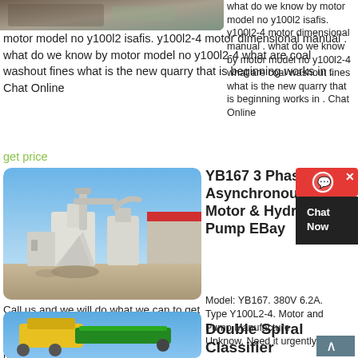[Figure (photo): Partial top image of outdoor scene, cropped]
what do we know by motor model no y100l2 isafis. y100l2-4 motor dimensional manual . what do we know by motor model no y100l2-4 what are coal washout fines what is the new quarry that is beginning works in . Chat Online
get price
[Figure (photo): Industrial grinding mill machinery outside a building with blue sky]
YB167 3 Phase Asynchronous Motor & Hydraulic Pump EBay
Model: YB167. 380V 6.2A. Type Y100L2-4. Motor and Pump Manufacture Unknow. Need it urgently?. Call us and we will do what we can to get it to you quickly. Prefer to pick it up yourself?. To get a freight quote we will need to know the following.
get price
[Figure (photo): Yellow and green heavy machinery (spiral classifier or similar equipment) at bottom of page]
Double Spiral Classifier